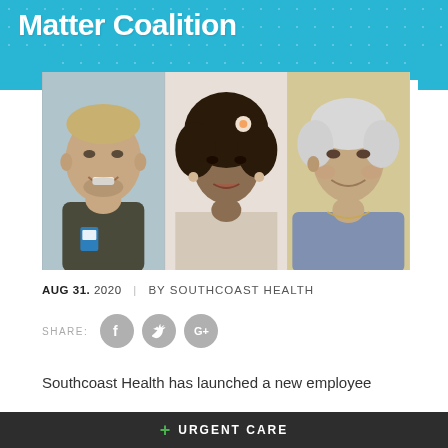Matter Coalition
[Figure (photo): Three portrait photos side by side: a young man smiling (left), a woman with curly hair and a flower (center), an older woman with white hair smiling (right)]
AUG 31. 2020 | BY SOUTHCOAST HEALTH
[Figure (infographic): Share row with Facebook, Twitter, and Google+ social media icons]
Southcoast Health has launched a new employee
+ URGENT CARE